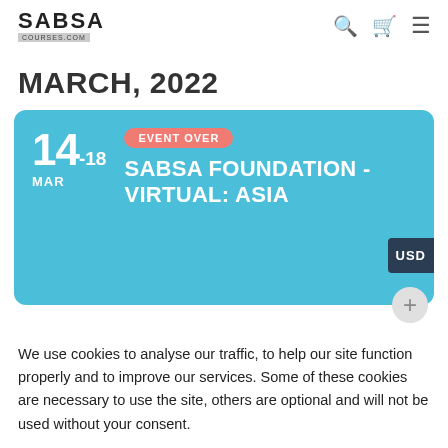SABSA courses.com
MARCH, 2022
14-18 MAR EVENT OVER SABSA FOUNDATION - VIRTUAL: ASIA USD
We use cookies to analyse our traffic, to help our site function properly and to improve our services. Some of these cookies are necessary to use the site, others are optional and will not be used without your consent.
Cookie settings   ACCEPT